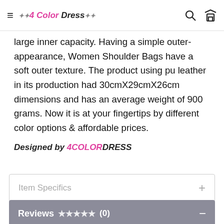4 Color Dress
large inner capacity. Having a simple outer-appearance, Women Shoulder Bags have a soft outer texture. The product using pu leather in its production had 30cmX29cmX26cm dimensions and has an average weight of 900 grams. Now it is at your fingertips by different color options & affordable prices.

Designed by 4COLORDRESS